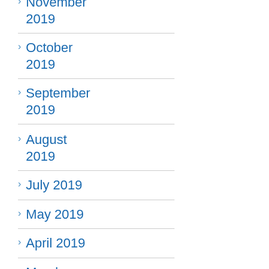November 2019
October 2019
September 2019
August 2019
July 2019
May 2019
April 2019
March 2019
February 2019